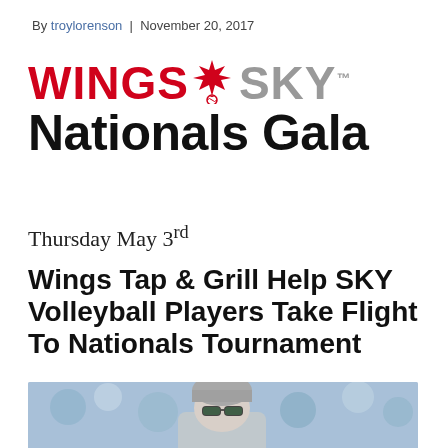By troylorenson | November 20, 2017
[Figure (logo): Wings SKY Nationals Gala logo with maple leaf and volleyball icon in red and grey]
Thursday May 3rd
Wings Tap & Grill Help SKY Volleyball Players Take Flight To Nationals Tournament
[Figure (photo): A person wearing a grey beanie hat and green-tinted sunglasses, with a blurred crowd background in blue tones]